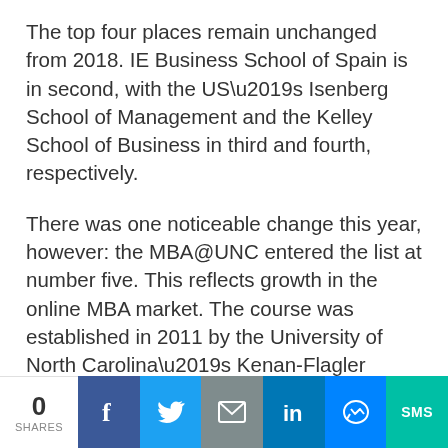The top four places remain unchanged from 2018. IE Business School of Spain is in second, with the US’s Isenberg School of Management and the Kelley School of Business in third and fourth, respectively.
There was one noticeable change this year, however: the MBA@UNC entered the list at number five. This reflects growth in the online MBA market. The course was established in 2011 by the University of North Carolina’s Kenan-Flagler Business School
0 SHARES | Share buttons: Facebook, Twitter, Email, LinkedIn, Messenger, SMS